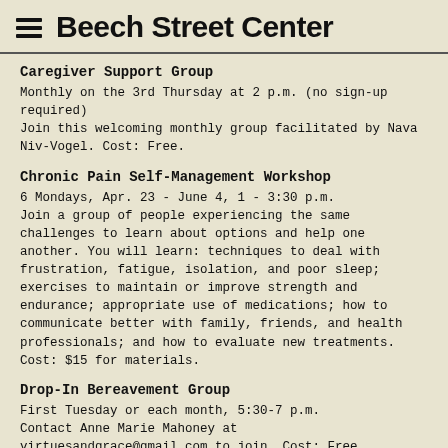Beech Street Center
Caregiver Support Group
Monthly on the 3rd Thursday at 2 p.m. (no sign-up required)
Join this welcoming monthly group facilitated by Nava Niv-Vogel. Cost: Free.
Chronic Pain Self-Management Workshop
6 Mondays, Apr. 23 - June 4, 1 - 3:30 p.m.
Join a group of people experiencing the same challenges to learn about options and help one another. You will learn: techniques to deal with frustration, fatigue, isolation, and poor sleep; exercises to maintain or improve strength and endurance; appropriate use of medications; how to communicate better with family, friends, and health professionals; and how to evaluate new treatments. Cost: $15 for materials.
Drop-In Bereavement Group
First Tuesday or each month, 5:30-7 p.m.
Contact Anne Marie Mahoney at virtuesandgrace@gmail.com to join. Cost: Free.
Decluttering Peer Support Group
Thursdays, 1:15 - 2:15 PM (open to all ages)
Are you having difficulty organizing your papers or belongings?